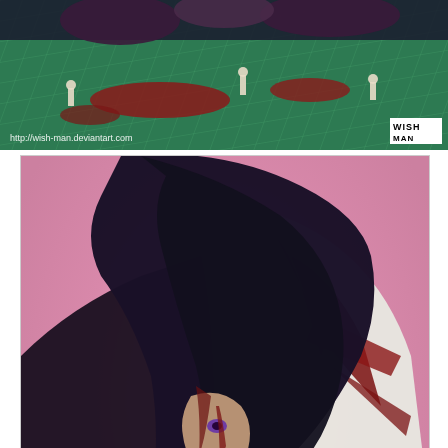[Figure (illustration): Top panel: anime/fan art scene showing a grid-patterned green floor with dark red blood splatters and small figure silhouettes. Watermark 'http://wish-man.deviantart.com' at bottom left, 'WISH MAN' logo at bottom right in white block letters.]
[Figure (illustration): Large center panel: anime fan art of Zaraki Kenpachi from Bleach, shown with long dark hair covering face, covered extensively in dark red blood against a pink/magenta background. Character wears dark robes.]
[Figure (illustration): Partial bottom panel: purple gradient banner with text 'ZARAKI KENPACHI' and close (X) button on right side.]
Advertisements
[Figure (illustration): Fandom on Tumblr advertisement banner with orange-to-purple gradient background, decorative icons, and white bold text reading 'FANDOM ON tumblr'.]